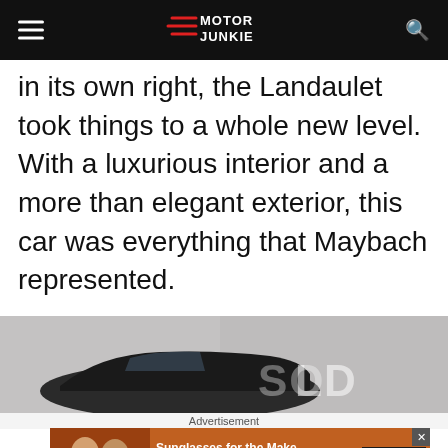Motor Junkie
in its own right, the Landaulet took things to a whole new level. With a luxurious interior and a more than elegant exterior, this car was everything that Maybach represented.
[Figure (photo): Photo of a black Maybach Landaulet car in a showroom, with 'SOLD' text watermark visible]
Advertisement
[Figure (photo): Advertisement banner: two women wearing sunglasses, text reads 'Sunglasses for the Make', 'TIMELESS STYLES. UNMATCHED QUALITY', with a 'SHOP NOW' button]